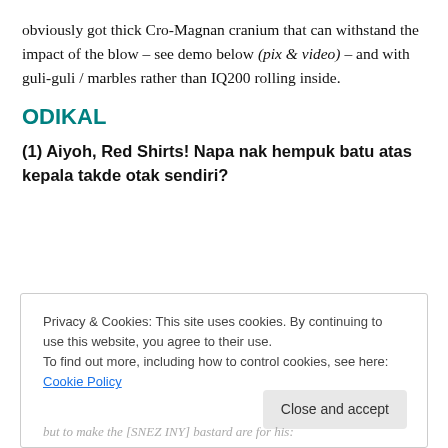obviously got thick Cro-Magnan cranium that can withstand the impact of the blow – see demo below (pix & video) – and with guli-guli / marbles rather than IQ200 rolling inside.
ODIKAL
(1) Aiyoh, Red Shirts! Napa nak hempuk batu atas kepala takde otak sendiri?
Privacy & Cookies: This site uses cookies. By continuing to use this website, you agree to their use.
To find out more, including how to control cookies, see here: Cookie Policy
but to make the [SNEZ INY] bastard are for his: